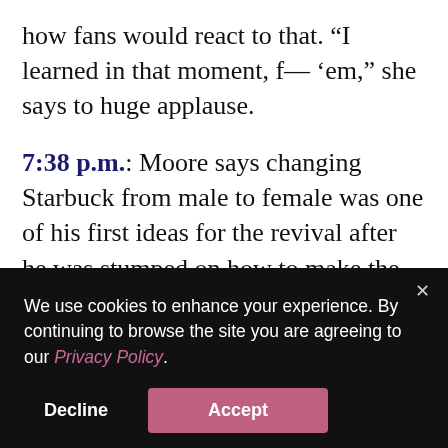how fans would react to that. “I learned in that moment, f— ‘em,” she says to huge applause.
7:38 p.m.: Moore says changing Starbuck from male to female was one of his first ideas for the revival after he was stumped on how to make the character different from the original, who would smoke cigars, drink, and gamble. “She has all the same characteristics,” Moore says. “I haven’t
We use cookies to enhance your experience. By continuing to browse the site you are agreeing to our Privacy Policy.